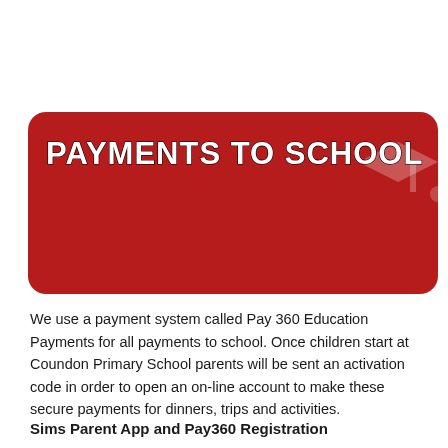[Figure (infographic): Red rounded rectangle banner with text PAYMENTS TO SCHOOL in white bold letters with black outline, and a partial graduation cap icon on the right side]
We use a payment system called Pay 360 Education Payments for all payments to school. Once children start at Coundon Primary School parents will be sent an activation code in order to open an on-line account to make these secure payments for dinners, trips and activities.
Sims Parent App and Pay360 Registration